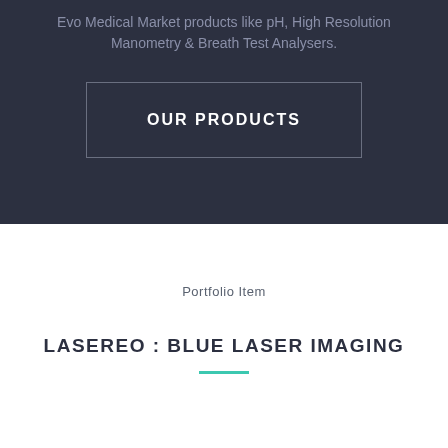Evo Medical Market products like pH, High Resolution Manometry & Breath Test Analysers.
OUR PRODUCTS
Portfolio Item
LASEREO : BLUE LASER IMAGING